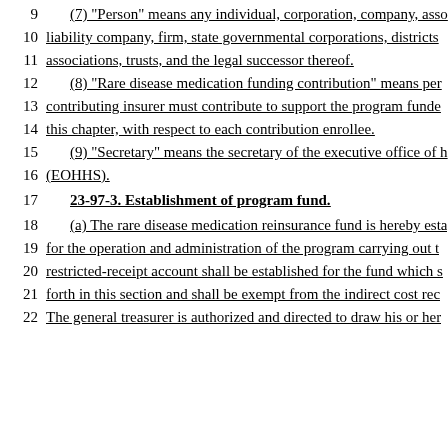9    (7) "Person" means any individual, corporation, company, asso
10   liability company, firm, state governmental corporations, districts
11   associations, trusts, and the legal successor thereof.
12   (8) "Rare disease medication funding contribution" means per
13   contributing insurer must contribute to support the program funde
14   this chapter, with respect to each contribution enrollee.
15   (9) "Secretary" means the secretary of the executive office of h
16   (EOHHS).
17   23-97-3. Establishment of program fund.
18   (a) The rare disease medication reinsurance fund is hereby esta
19   for the operation and administration of the program carrying out t
20   restricted-receipt account shall be established for the fund which s
21   forth in this section and shall be exempt from the indirect cost rec
22   The general treasurer is authorized and directed to draw his or her